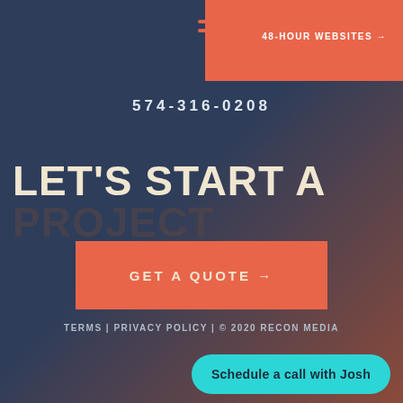48-HOUR WEBSITES →
574-316-0208
LET'S START A PROJECT
GET A QUOTE →
TERMS | PRIVACY POLICY | © 2020 RECON MEDIA
Schedule a call with Josh